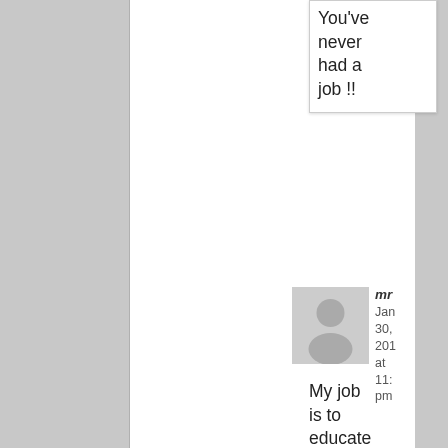You've never had a job !!
[Figure (illustration): Default user avatar placeholder — grey silhouette of a person on a light grey background]
mr
Jan 30, 201 at 11: pm
My job is to educate all of you dummy' – those that don't know how the